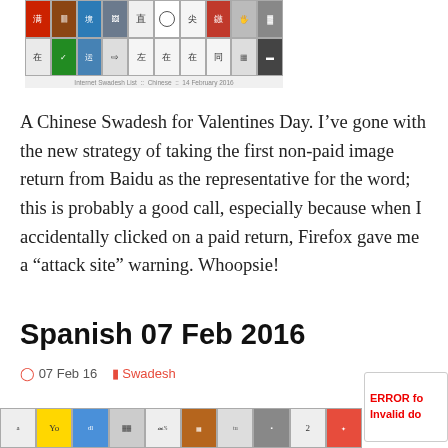[Figure (illustration): Grid of Chinese character images representing a Swadesh list, with colorful tiles showing characters and associated images]
Internet Swadesh List :: Chinese :: 14 February 2016
A Chinese Swadesh for Valentines Day. I’ve gone with the new strategy of taking the first non-paid image return from Baidu as the representative for the word; this is probably a good call, especially because when I accidentally clicked on a paid return, Firefox gave me a “attack site” warning. Whoopsie!
Spanish 07 Feb 2016
07 Feb 16   Swadesh
[Figure (illustration): Partial view of Spanish Swadesh list image grid at bottom of page]